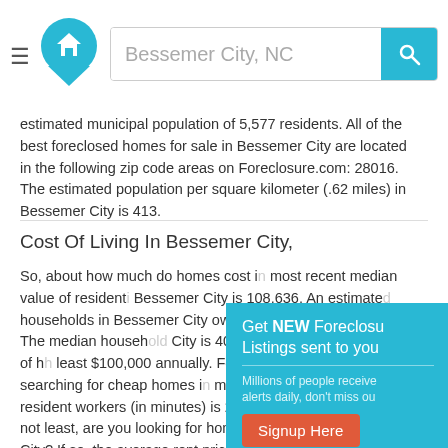Bessemer City, NC — search bar header
estimated municipal population of 5,577 residents. All of the best foreclosed homes for sale in Bessemer City are located in the following zip code areas on Foreclosure.com: 28016. The estimated population per square kilometer (.62 miles) in Bessemer City is 413.
Cost Of Living In Bessemer City,
So, about how much do homes cost in most recent median value of residential Bessemer City is 108,636. An estimated households in Bessemer City own their family size of 3.28. The median household City is 40,714, with12.9 percentage of least $100,000 annually. For working p who are searching for cheap homes in median commute time of resident workers (in minutes) is 25.0. And last, but certainly not least, are you looking for homes to rent in Bessemer City? If so, the average rent price paid by
[Figure (screenshot): Popup overlay with teal background: 'Get NEW Foreclosure Listings sent to you' with subtitle 'Millions of people receive alerts daily, don't miss ou' and a red 'Signup Here' button and 'No Thanks | Remind Me L' link]